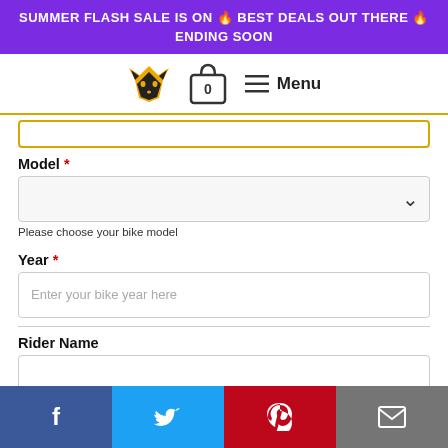SUMMER FLASH SALE IS ON 🔥 BEST DEALS OUT THERE 🔥 ENDING SOON
[Figure (logo): Fox logo (stylized fox face in gold/black) and shopping cart icon with 0 and Menu hamburger navigation]
Model *
Please choose your bike model
Year *
Enter your bike year here
Rider Name
Facebook | Twitter | Pinterest | Email social share buttons